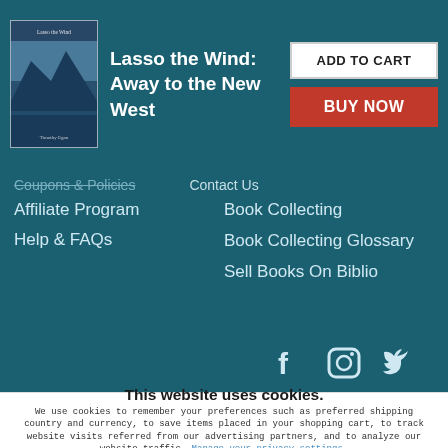[Figure (screenshot): Book product header with cover image of 'Lasso the Wind: Away to the New West', ADD TO CART button, and BUY NOW button on teal background]
Lasso the Wind: Away to the New West
Contact Us
Affiliate Program
Help & FAQs
Book Collecting
Book Collecting Glossary
Sell Books On Biblio
[Figure (illustration): Social media icons: Facebook, Instagram, Twitter on teal background]
This website uses cookies.
We use cookies to remember your preferences such as preferred shipping country and currency, to save items placed in your shopping cart, to track website visits referred from our advertising partners, and to analyze our website traffic. Manage your privacy settings.
AGREE AND CLOSE